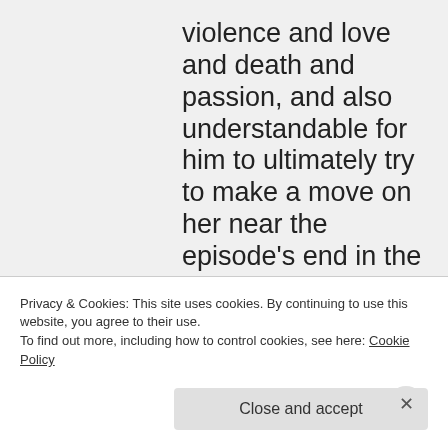violence and love and death and passion, and also understandable for him to ultimately try to make a move on her near the episode's end in the alleyway outside the Bronze – he moves
Privacy & Cookies: This site uses cookies. By continuing to use this website, you agree to their use.
To find out more, including how to control cookies, see here: Cookie Policy
Close and accept